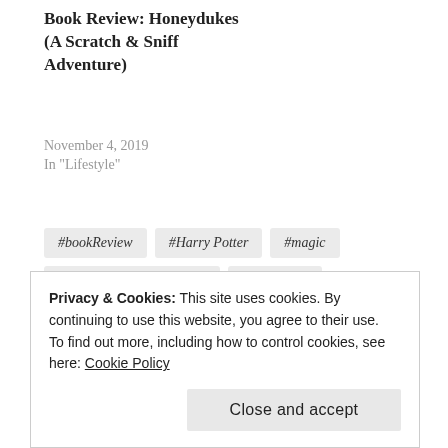Book Review: Honeydukes (A Scratch & Sniff Adventure)
November 4, 2019
In "Lifestyle"
#bookReview
#Harry Potter
#magic
#mommyblogger #lifestyle
#supportive
Privacy & Cookies: This site uses cookies. By continuing to use this website, you agree to their use.
To find out more, including how to control cookies, see here: Cookie Policy
Close and accept